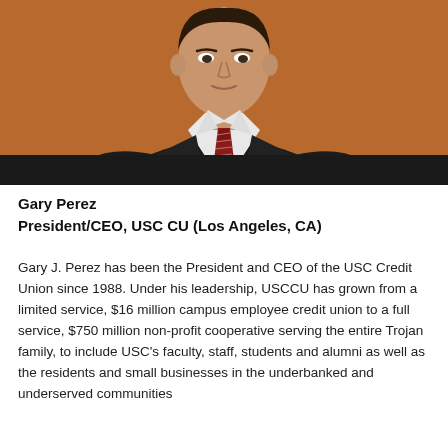[Figure (photo): Portrait photo of Gary Perez, a man in a dark suit jacket, white dress shirt, and dark red/maroon patterned tie, photographed from the chest up against a warm brown/orange background.]
Gary Perez
President/CEO, USC CU (Los Angeles, CA)
Gary J. Perez has been the President and CEO of the USC Credit Union since 1988. Under his leadership, USCCU has grown from a limited service, $16 million campus employee credit union to a full service, $750 million non-profit cooperative serving the entire Trojan family, to include USC's faculty, staff, students and alumni as well as the residents and small businesses in the underbanked and underserved communities